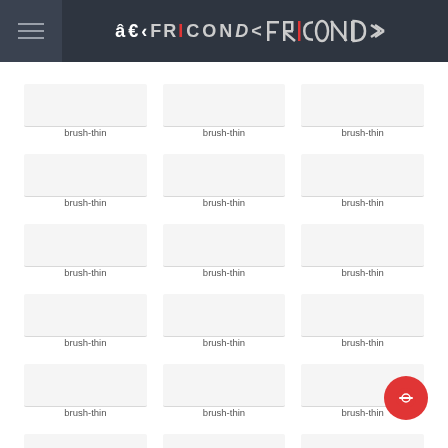FRICONIX
brush-thin
brush-thin
brush-thin
[Figure (illustration): Icon placeholder box - brush-thin]
brush-thin
[Figure (illustration): Icon placeholder box - brush-thin]
brush-thin
[Figure (illustration): Icon placeholder box - brush-thin]
brush-thin
[Figure (illustration): Icon placeholder box - brush-thin]
brush-thin
[Figure (illustration): Icon placeholder box - brush-thin]
brush-thin
[Figure (illustration): Icon placeholder box - brush-thin]
brush-thin
[Figure (illustration): Icon placeholder box - brush-thin]
brush-thin
[Figure (illustration): Icon placeholder box - brush-thin]
brush-thin
[Figure (illustration): Icon placeholder box - brush-thin]
brush-thin
[Figure (illustration): Icon placeholder box - brush-thin]
brush-thin
[Figure (illustration): Icon placeholder box - brush-thin]
brush-thin
[Figure (illustration): Icon placeholder box - brush-thin]
brush-thin
[Figure (illustration): Icon placeholder box - brush-thin]
brush-thin
[Figure (illustration): Icon placeholder box - brush-thin]
brush-thin
[Figure (illustration): Icon placeholder box - brush-thin]
brush-thin
[Figure (illustration): Icon placeholder box - brush-thin]
brush-thin
[Figure (illustration): Icon placeholder box - brush-thin]
brush-thin
[Figure (illustration): Icon placeholder box - brush-thin]
brush-thin
[Figure (other): Red circular FAB button with a no/cancel icon]